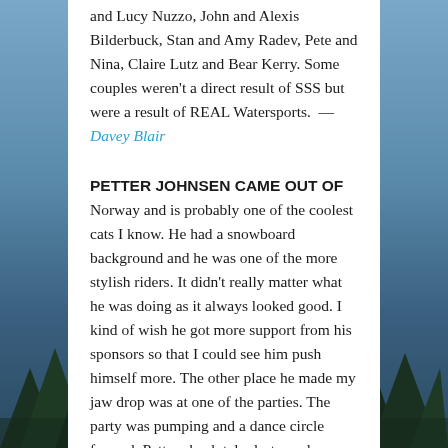and Lucy Nuzzo, John and Alexis Bilderbuck, Stan and Amy Radev, Pete and Nina, Claire Lutz and Bear Kerry. Some couples weren't a direct result of SSS but were a result of REAL Watersports. —Davey Blair
PETTER JOHNSEN CAME OUT OF Norway and is probably one of the coolest cats I know. He had a snowboard background and he was one of the more stylish riders. It didn't really matter what he was doing as it always looked good. I kind of wish he got more support from his sponsors so that I could see him push himself more. The other place he made my jaw drop was at one of the parties. The party was pumping and a dance circle formed. Petter absolutely destroyed everyone else's dance moves. I would have declared him winner like half way through but to put the icing on the cake he wanted to end with a backflip and right